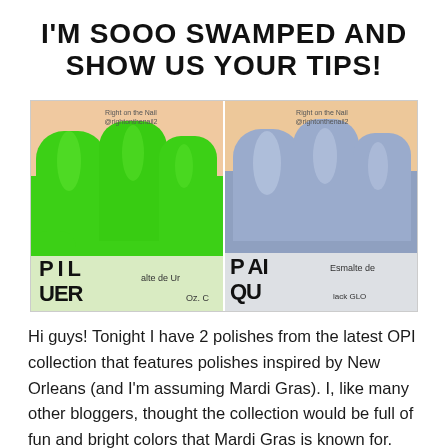I'M SOOO SWAMPED AND SHOW US YOUR TIPS!
[Figure (photo): Two side-by-side close-up photos of painted fingernails: left shows bright green OPI nail polish, right shows shimmery blue/lavender OPI nail polish. Both photos show OPI lacquer bottles at the bottom. Watermark reads 'Right on the Nail @rightonthenail2' on each photo.]
Hi guys! Tonight I have 2 polishes from the latest OPI collection that features polishes inspired by New Orleans (and I'm assuming Mardi Gras). I, like many other bloggers, thought the collection would be full of fun and bright colors that Mardi Gras is known for. OPI decided to go a bit of a